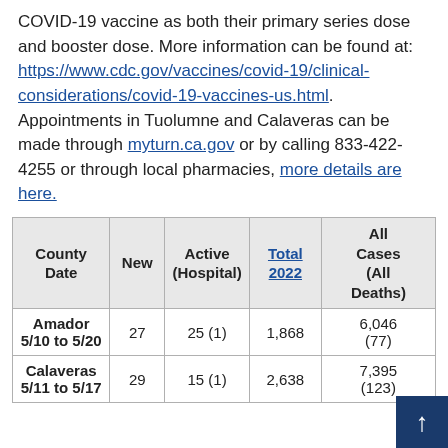COVID-19 vaccine as both their primary series dose and booster dose. More information can be found at: https://www.cdc.gov/vaccines/covid-19/clinical-considerations/covid-19-vaccines-us.html. Appointments in Tuolumne and Calaveras can be made through myturn.ca.gov or by calling 833-422-4255 or through local pharmacies, more details are here.
| County Date | New | Active (Hospital) | Total 2022 | All Cases (All Deaths) |
| --- | --- | --- | --- | --- |
| Amador 5/10 to 5/20 | 27 | 25 (1) | 1,868 | 6,046 (77) |
| Calaveras 5/11 to 5/17 | 29 | 15 (1) | 2,638 | 7,395 (123) |